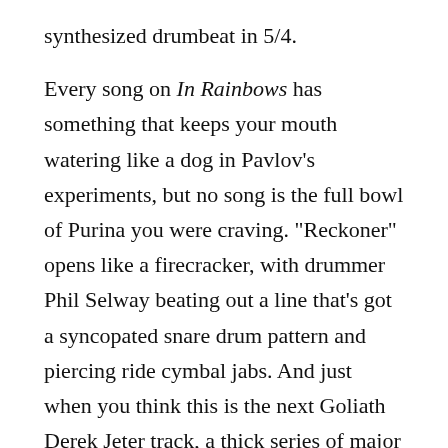synthesized drumbeat in 5/4.
Every song on In Rainbows has something that keeps your mouth watering like a dog in Pavlov’s experiments, but no song is the full bowl of Purina you were craving. “Reckoner” opens like a firecracker, with drummer Phil Selway beating out a line that’s got a syncopated snare drum pattern and piercing ride cymbal jabs. And just when you think this is the next Goliath Derek Jeter track, a thick series of major chords comes trickling out of an electric guitar. It takes a more ethereal route, rather than the stadium rocker route the listener expected.
The other noticeable change on In Rainbows is